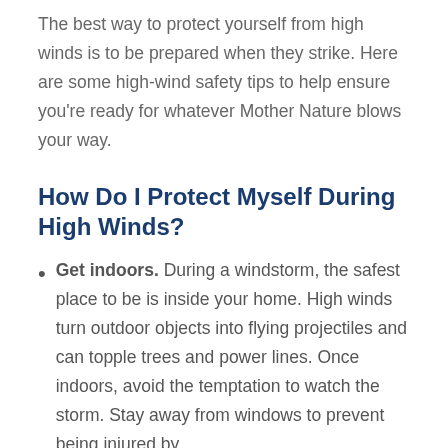The best way to protect yourself from high winds is to be prepared when they strike. Here are some high-wind safety tips to help ensure you're ready for whatever Mother Nature blows your way.
How Do I Protect Myself During High Winds?
Get indoors. During a windstorm, the safest place to be is inside your home. High winds turn outdoor objects into flying projectiles and can topple trees and power lines. Once indoors, avoid the temptation to watch the storm. Stay away from windows to prevent being injured by